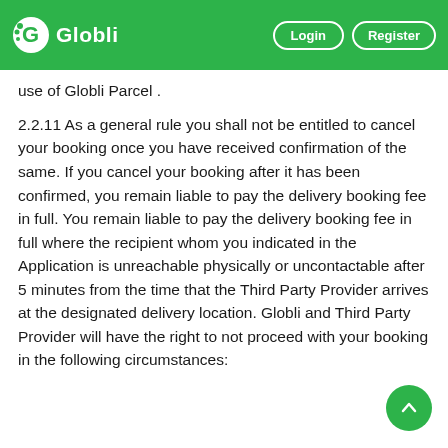Globli — Login | Register
use of Globli Parcel .
2.2.11 As a general rule you shall not be entitled to cancel your booking once you have received confirmation of the same. If you cancel your booking after it has been confirmed, you remain liable to pay the delivery booking fee in full. You remain liable to pay the delivery booking fee in full where the recipient whom you indicated in the Application is unreachable physically or uncontactable after 5 minutes from the time that the Third Party Provider arrives at the designated delivery location. Globli and Third Party Provider will have the right to not proceed with your booking in the following circumstances: